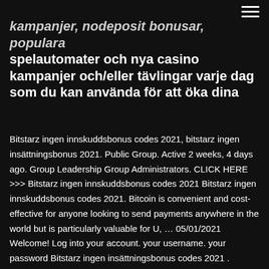kampanjer, nodeposit bonusar, populara spelautomater och nya casino kampanjer och/eller tävlingar varje dag som du kan använda för att öka dina
Bitstarz ingen innskuddsbonus codes 2021, bitstarz ingen insättningsbonus 2021. Public Group. Active 2 weeks, 4 days ago. Group Leadership Group Administrators. CLICK HERE >>> Bitstarz ingen innskuddsbonus codes 2021 Bitstarz ingen innskuddsbonus codes 2021. Bitcoin is convenient and cost-effective for anyone looking to send payments anywhere in the world but is particularly valuable for U, … 05/01/2021 Welcome! Log into your account. your username. your password Bitstarz ingen insättningsbonus codes 2021 . Bitstarz ingen insättningsbonus codes 2021.